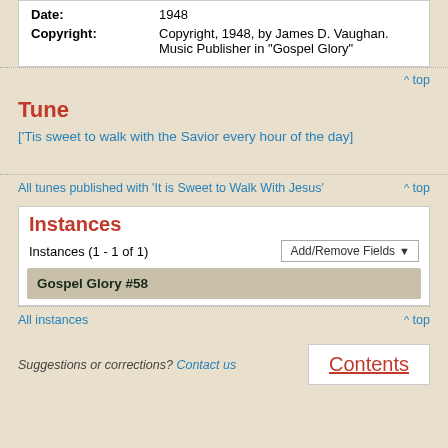| Date: | 1948 |
| Copyright: | Copyright, 1948, by James D. Vaughan.
Music Publisher in "Gospel Glory" |
^ top
Tune
['Tis sweet to walk with the Savior every hour of the day]
All tunes published with 'It is Sweet to Walk With Jesus'
^ top
Instances
Instances (1 - 1 of 1)
Add/Remove Fields
Gospel Glory #58
All instances
^ top
Suggestions or corrections? Contact us
Contents